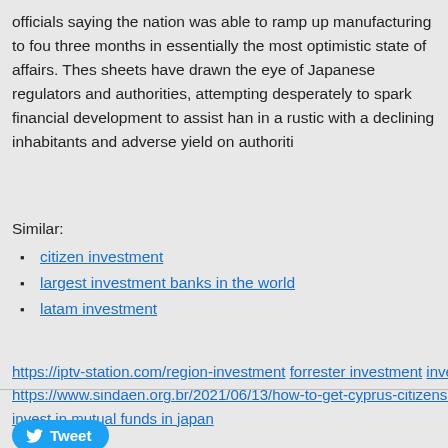officials saying the nation was able to ramp up manufacturing to fou three months in essentially the most optimistic state of affairs. Thes sheets have drawn the eye of Japanese regulators and authorities, attempting desperately to spark financial development to assist han in a rustic with a declining inhabitants and adverse yield on authoriti
Similar:
citizen investment
largest investment banks in the world
latam investment
https://iptv-station.com/region-investment forrester investment inves https://www.sindaen.org.br/2021/06/13/how-to-get-cyprus-citizenshi invest in mutual funds in japan
Tweet